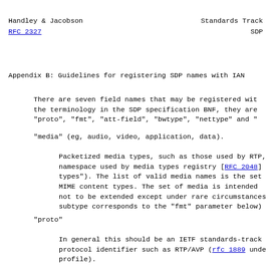Handley & Jacobson                    Standards Track
RFC 2327                                    SDP
Appendix B: Guidelines for registering SDP names with IAN
There are seven field names that may be registered wit
the terminology in the SDP specification BNF, they are
"proto", "fmt", "att-field", "bwtype", "nettype" and "
"media" (eg, audio, video, application, data).
Packetized media types, such as those used by RTP,
namespace used by media types registry [RFC 2048]
types").  The list of valid media names is the se
MIME content types.  The set of media is intended
not to be extended except under rare circumstances
subtype corresponds to the "fmt" parameter below)
"proto"
In general this should be an IETF standards-track
protocol identifier such as RTP/AVP (rfc 1889 unde
profile).